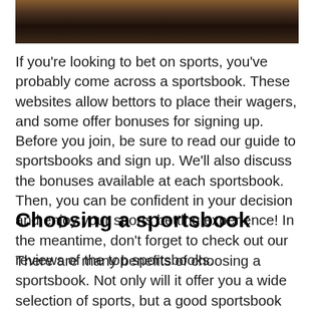[Figure (photo): Dark overhead photo of what appears to be a sports venue or stadium interior with lighting]
If you're looking to bet on sports, you've probably come across a sportsbook. These websites allow bettors to place their wagers, and some offer bonuses for signing up. Before you join, be sure to read our guide to sportsbooks and sign up. We'll also discuss the bonuses available at each sportsbook. Then, you can be confident in your decision and enjoy your sports betting experience! In the meantime, don't forget to check out our reviews of the top sportsbooks.
Choosing a sportsbook
There are many benefits of choosing a sportsbook. Not only will it offer you a wide selection of sports, but a good sportsbook can also help you make the most informed decisions. Listed below are five questions that you should ask yourself before